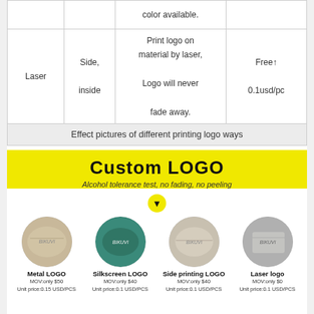|  |  |  |  |
| --- | --- | --- | --- |
|  |  | color available. |  |
| Laser | Side, inside | Print logo on material by laser, Logo will never fade away. | Free↑ 0.1usd/pc |
Effect pictures of different printing logo ways
[Figure (infographic): Yellow banner with 'Custom LOGO' title and subtitle 'Alcohol tolerance test, no fading, no peeling', with a downward arrow below, and four circular product images showing Metal LOGO, Silkscreen LOGO, Side printing LOGO, and Laser logo with pricing details.]